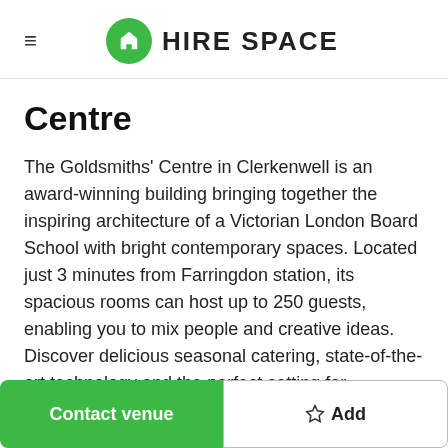HIRE SPACE
Centre
The Goldsmiths' Centre in Clerkenwell is an award-winning building bringing together the inspiring architecture of a Victorian London Board School with bright contemporary spaces. Located just 3 minutes from Farringdon station, its spacious rooms can host up to 250 guests, enabling you to mix people and creative ideas. Discover delicious seasonal catering, state-of-the-art technology and the perfect setting for
Contact venue
Add